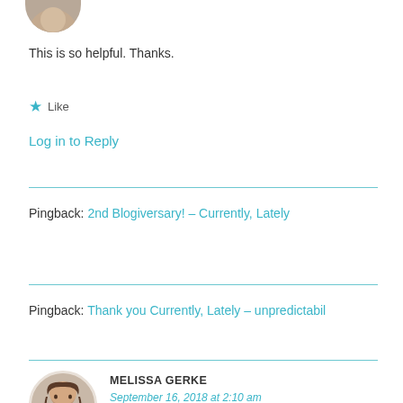[Figure (photo): Partial avatar image at top, cropped circle showing top of head]
This is so helpful. Thanks.
★ Like
Log in to Reply
Pingback: 2nd Blogiversary! – Currently, Lately
Pingback: Thank you Currently, Lately – unpredictabil
MELISSA GERKE
September 16, 2018 at 2:10 am
[Figure (photo): Circular avatar photo of Melissa Gerke, a woman with brown hair]